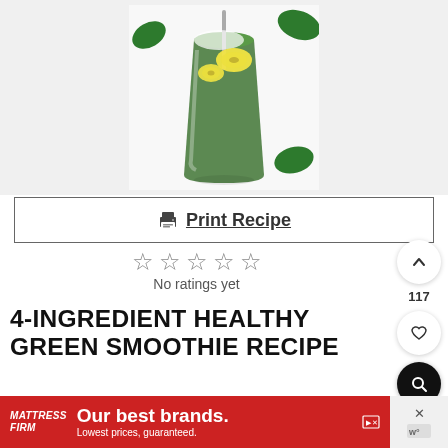[Figure (photo): Green smoothie in a glass with banana slices on top and spinach leaves around it on a white background]
Print Recipe
[Figure (other): Five empty star rating icons — no ratings yet]
No ratings yet
4-INGREDIENT HEALTHY GREEN SMOOTHIE RECIPE
Delicious simple and healthy green smoothie
[Figure (other): Mattress Firm advertisement banner: Our best brands. Lowest prices, guaranteed.]